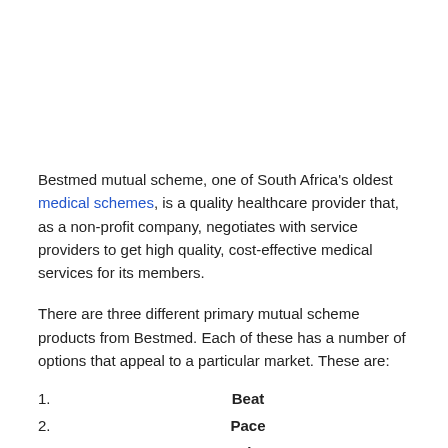Bestmed mutual scheme, one of South Africa's oldest medical schemes, is a quality healthcare provider that, as a non-profit company, negotiates with service providers to get high quality, cost-effective medical services for its members.
There are three different primary mutual scheme products from Bestmed. Each of these has a number of options that appeal to a particular market. These are:
1. Beat
2. Pace
3. Pulse